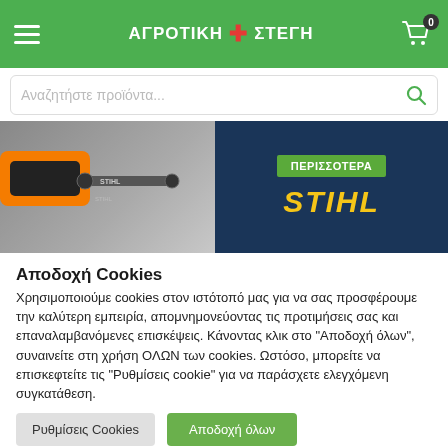ΑΓΡΟΤΙΚΗ ΣΤΕΓΗ
[Figure (screenshot): E-commerce website header with green navigation bar showing hamburger menu, ΑΓΡΟΤΙΚΗ + ΣΤΕΓΗ logo with red cross, and shopping cart icon with badge showing 0]
[Figure (screenshot): Search bar with placeholder text 'Αναζητήστε προϊόντα...' and green search icon]
[Figure (photo): Banner image showing STIHL chainsaw products with 'ΠΕΡΙΣΣΟΤΕΡΑ' button and STIHL logo on dark blue background]
Αποδοχή Cookies
Χρησιμοποιούμε cookies στον ιστότοπό μας για να σας προσφέρουμε την καλύτερη εμπειρία, απομνημονεύοντας τις προτιμήσεις σας και επαναλαμβανόμενες επισκέψεις. Κάνοντας κλικ στο "Αποδοχή όλων", συναινείτε στη χρήση ΟΛΩΝ των cookies. Ωστόσο, μπορείτε να επισκεφτείτε τις "Ρυθμίσεις cookie" για να παράσχετε ελεγχόμενη συγκατάθεση.
Ρυθμίσεις Cookies
Αποδοχή όλων